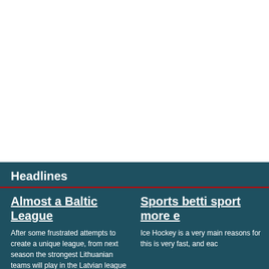[Figure (other): White blank area at the top of the page, appears to be an image or advertisement placeholder]
Headlines
Almost a Baltic League
After some frustrated attempts to create a unique league, from next season the strongest Lithuanian teams will play in the Latvian league
Read more»
Sports betti sport more e
Ice Hockey is a very main reasons for this is very fast, and eac